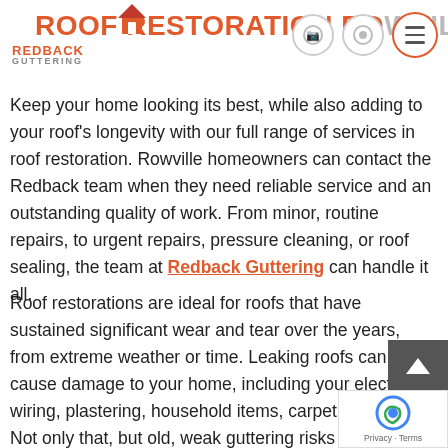ROOF RESTORATION ROWVILLE — Redback Guttering
Keep your home looking its best, while also adding to your roof's longevity with our full range of services in roof restoration. Rowville homeowners can contact the Redback team when they need reliable service and an outstanding quality of work. From minor, routine repairs, to urgent repairs, pressure cleaning, or roof sealing, the team at Redback Guttering can handle it all.
Roof restorations are ideal for roofs that have sustained significant wear and tear over the years, from extreme weather or time. Leaking roofs can cause damage to your home, including your electrical wiring, plastering, household items, carpet, and more. Not only that, but old, weak guttering risks your home flooding. At Redback Guttering our experts provide roof restoration in Rowville that roofs fresh, safe, and durable for years to come.